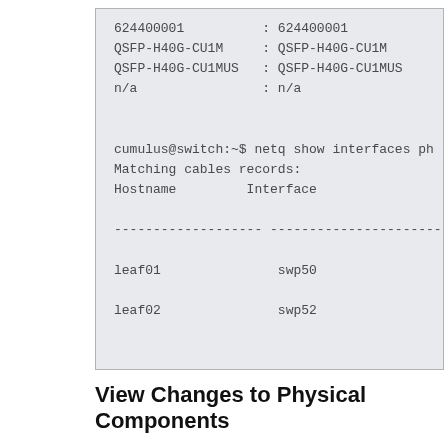[Figure (screenshot): Terminal/code block showing netq CLI output with cable records listing hostname and interface columns, with entries leaf01/swp50 and leaf02/swp52]
View Changes to Physical Components